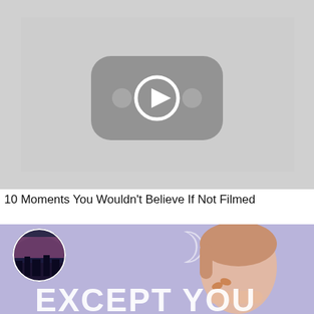[Figure (screenshot): YouTube-style video thumbnail placeholder: light gray background with a dark gray rounded-rectangle play button icon in the center, containing a circle with a play triangle and two small dots on either side]
10 Moments You Wouldn't Believe If Not Filmed
[Figure (screenshot): Video thumbnail with lavender/purple background showing an illustrated anime-style young person with light brown hair resting their chin on their hand, butterflies, a crescent moon symbol, a circular channel avatar in the top-left corner showing a night cityscape, and large white bold text at the bottom reading 'EXCEPT YOU']